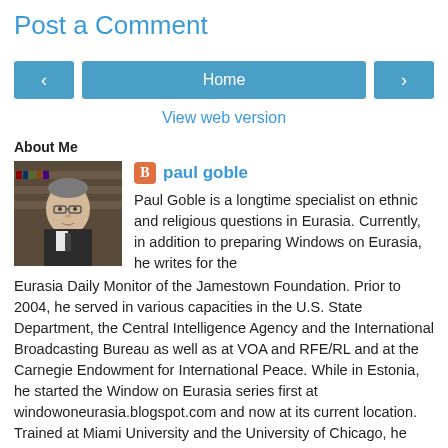Post a Comment
< Home >
View web version
About Me
[Figure (photo): Profile photo of Paul Goble, a man with glasses wearing a dark suit]
paul goble
Paul Goble is a longtime specialist on ethnic and religious questions in Eurasia. Currently, in addition to preparing Windows on Eurasia, he writes for the Eurasia Daily Monitor of the Jamestown Foundation. Prior to 2004, he served in various capacities in the U.S. State Department, the Central Intelligence Agency and the International Broadcasting Bureau as well as at VOA and RFE/RL and at the Carnegie Endowment for International Peace. While in Estonia, he started the Window on Eurasia series first at windowoneurasia.blogspot.com and now at its current location. Trained at Miami University and the University of Chicago, he has been decorated by the governments of Estonia, Latvia and Lithuania for his work in promoting Baltic independence. He does not post comments on his blog, but he can